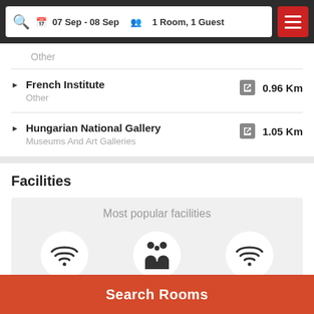07 Sep - 08 Sep  1 Room, 1 Guest
Other
French Institute · Other · 0.96 Km
Hungarian National Gallery · Museums And Art Galleries · 1.05 Km
Facilities
Most popular facilities
WiFi In All Areas
Family Rooms
Internet
Search Rooms